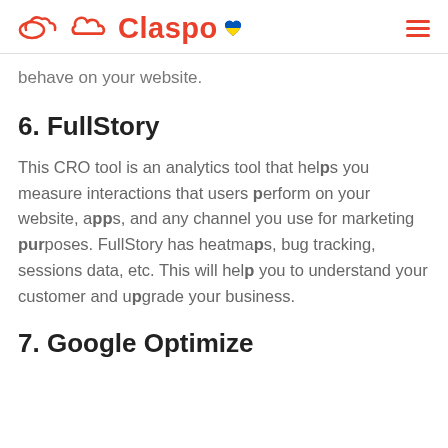Claspo
behave on your website.
6.  FullStory
This CRO tool is an analytics tool that helps you measure interactions that users perform on your website, apps, and any channel you use for marketing purposes. FullStory has heatmaps, bug tracking, sessions data, etc. This will help you to understand your customer and upgrade your business.
7. Google Optimize